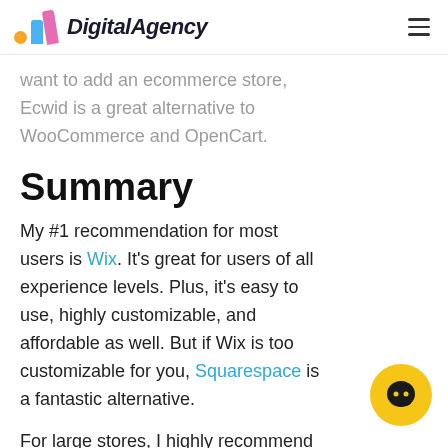DigitalAgency
want to add an ecommerce store, Ecwid is a great alternative to WooCommerce and OpenCart.
Summary
My #1 recommendation for most users is Wix. It's great for users of all experience levels. Plus, it's easy to use, highly customizable, and affordable as well. But if Wix is too customizable for you, Squarespace is a fantastic alternative.
For large stores, I highly recommend BigCommerce or Shopify.